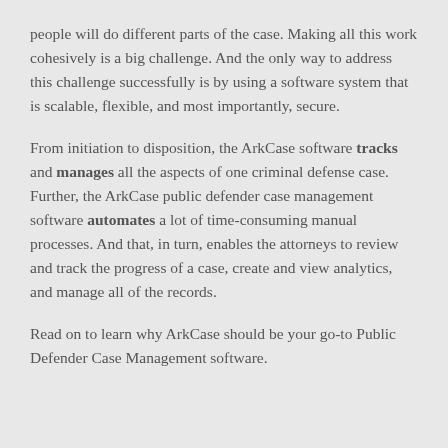people will do different parts of the case. Making all this work cohesively is a big challenge. And the only way to address this challenge successfully is by using a software system that is scalable, flexible, and most importantly, secure.
From initiation to disposition, the ArkCase software tracks and manages all the aspects of one criminal defense case. Further, the ArkCase public defender case management software automates a lot of time-consuming manual processes. And that, in turn, enables the attorneys to review and track the progress of a case, create and view analytics, and manage all of the records.
Read on to learn why ArkCase should be your go-to Public Defender Case Management software.